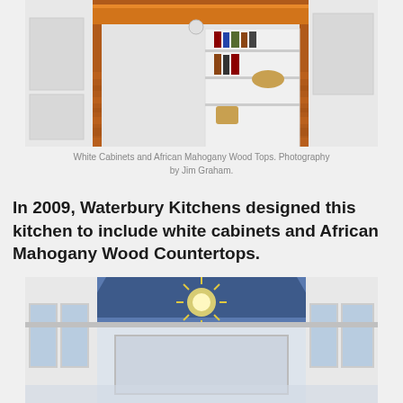[Figure (photo): Kitchen island with white cabinets and African Mahogany wood countertop/top, open shelving with books and items, hardwood floor visible]
White Cabinets and African Mahogany Wood Tops. Photography by Jim Graham.
In 2009, Waterbury Kitchens designed this kitchen to include white cabinets and African Mahogany Wood Countertops.
[Figure (photo): Interior hallway or room with white walls, large windows, blue ceiling with a starburst chandelier light fixture]